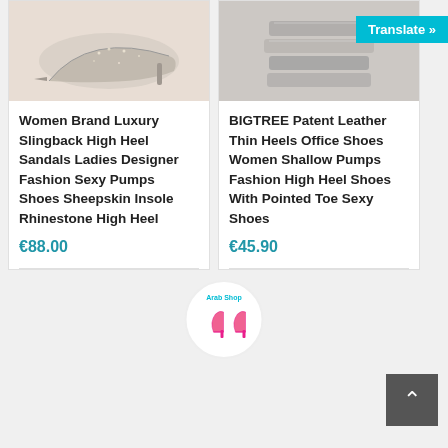[Figure (photo): Photo of a rhinestone encrusted high heel shoe on light pink/beige background]
[Figure (photo): Photo of patent leather shoes stacked on white background with Translate button overlay]
Women Brand Luxury Slingback High Heel Sandals Ladies Designer Fashion Sexy Pumps Shoes Sheepskin Insole Rhinestone High Heel
€88.00
BIGTREE Patent Leather Thin Heels Office Shoes Women Shallow Pumps Fashion High Heel Shoes With Pointed Toe Sexy Shoes
€45.90
[Figure (logo): Arab Shop logo — circular badge with pink high heels illustration and teal text]